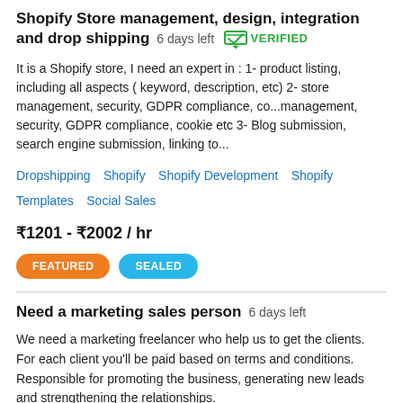Shopify Store management, design, integration and drop shipping  6 days left  VERIFIED
It is a Shopify store, I need an expert in : 1- product listing, including all aspects ( keyword, description, etc) 2- store management, security, GDPR compliance, co...management, security, GDPR compliance, cookie etc 3- Blog submission, search engine submission, linking to...
Dropshipping  Shopify  Shopify Development  Shopify Templates  Social Sales
₹1201 - ₹2002 / hr
FEATURED  SEALED
Need a marketing sales person  6 days left
We need a marketing freelancer who help us to get the clients. For each client you'll be paid based on terms and conditions. Responsible for promoting the business, generating new leads and strengthening the relationships.